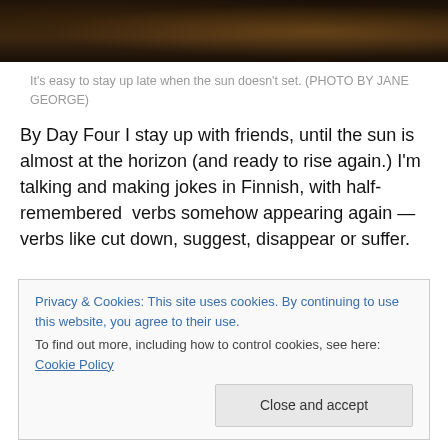[Figure (photo): Partial view of an outdoor dusk/twilight scene — dark landscape with trees and water, warm orange glow on the horizon.]
It's easy to stay up late when the sun doesn't set. (PHOTO BY JANE GEORGE)
By Day Four I stay up with friends, until the sun is almost at the horizon (and ready to rise again.) I'm talking and making jokes in Finnish, with half-remembered  verbs somehow appearing again — verbs like cut down, suggest, disappear or suffer.
Privacy & Cookies: This site uses cookies. By continuing to use this website, you agree to their use.
To find out more, including how to control cookies, see here: Cookie Policy
Close and accept